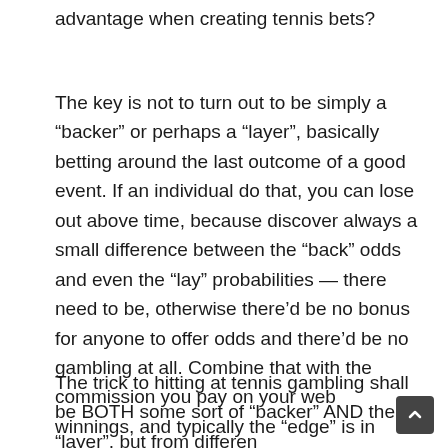advantage when creating tennis bets?
The key is not to turn out to be simply a “backer” or perhaps a “layer”, basically betting around the last outcome of a good event. If an individual do that, you can lose out above time, because discover always a small difference between the “back” odds and even the “lay” probabilities — there need to be, otherwise there’d be no bonus for anyone to offer odds and there’d be no gambling at all. Combine that with the commission you pay on your web winnings, and typically the “edge” is in opposition to you mathematically (although it is far from as wonderful much like conventional bookmakers).
The trick to hitting at tennis gambling shall be BOTH some sort of “backer” AND the “layer”, but from differen points throughout the event. This is an other aspect